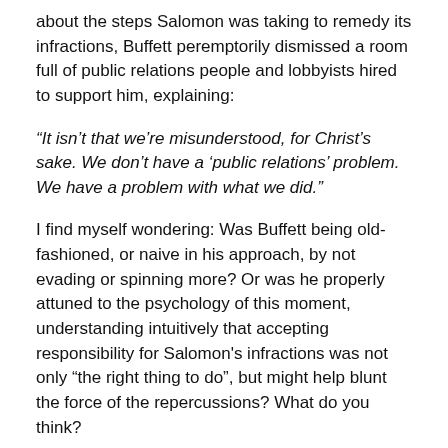about the steps Salomon was taking to remedy its infractions, Buffett peremptorily dismissed a room full of public relations people and lobbyists hired to support him, explaining:
“It isn’t that we’re misunderstood, for Christ’s sake. We don’t have a ‘public relations’ problem. We have a problem with what we did.”
I find myself wondering: Was Buffett being old-fashioned, or naive in his approach, by not evading or spinning more? Or was he properly attuned to the psychology of this moment, understanding intuitively that accepting responsibility for Salomon’s infractions was not only “the right thing to do”, but might help blunt the force of the repercussions? What do you think?
Share this: